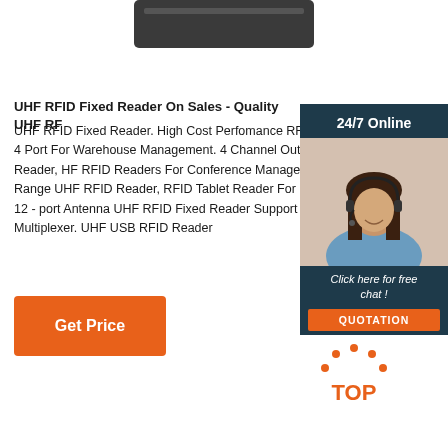[Figure (photo): Partial view of a dark/black RFID reader device at the top of the page]
UHF RFID Fixed Reader On Sales - Quality UHF RF...
UHF RFID Fixed Reader. High Cost Perfomance RF... 4 Port For Warehouse Management. 4 Channel Out... Reader, HF RFID Readers For Conference Manage... Range UHF RFID Reader, RFID Tablet Reader For... 12 - port Antenna UHF RFID Fixed Reader Support... Multiplexer. UHF USB RFID Reader
[Figure (photo): 24/7 Online chat widget showing a woman wearing a headset, with 'Click here for free chat!' text and a QUOTATION button]
[Figure (other): TOP badge logo with orange dots forming an arch above the word TOP in orange letters]
[Figure (other): Orange 'Get Price' button]